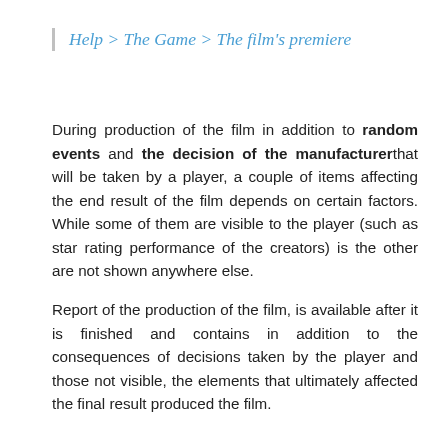Help > The Game > The film's premiere
During production of the film in addition to random events and the decision of the manufacturerthat will be taken by a player, a couple of items affecting the end result of the film depends on certain factors. While some of them are visible to the player (such as star rating performance of the creators) is the other are not shown anywhere else.
Report of the production of the film, is available after it is finished and contains in addition to the consequences of decisions taken by the player and those not visible, the elements that ultimately affected the final result produced the film.